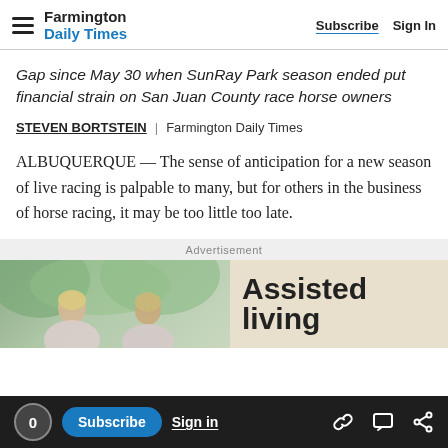Farmington Daily Times | Subscribe  Sign In
Gap since May 30 when SunRay Park season ended put financial strain on San Juan County race horse owners
STEVEN BORTSTEIN | Farmington Daily Times
ALBUQUERQUE — The sense of anticipation for a new season of live racing is palpable to many, but for others in the business of horse racing, it may be too little too late.
Advertisement
[Figure (photo): Advertisement banner showing elderly women and text 'Assisted living']
0  Subscribe  Sign in